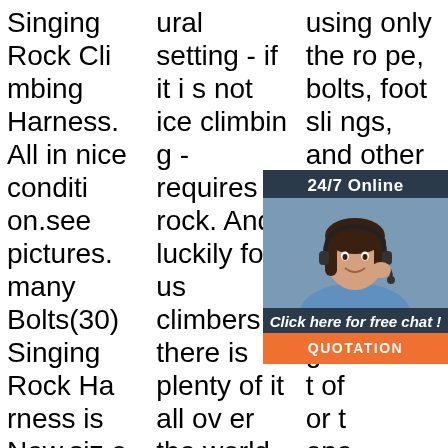Singing Rock Climbing Harness. All in nice condition.see pictures. many Bolts(30) Singing Rock Harness is New.size Large. Another piece with a clip is also in New condition. Please see pic's for the best description. 100% customer satisfaction guaranteed.
ural setting - if it is not ice climbing - requires rock. And luckily for us climbers, there is plenty of it all over the world. As climbers we also know that there are different types of rock and that - depending on the rock type - the climbing ...
[Figure (other): Orange 'Get Price' button]
using only the rope, bolts, foot slings, and other pieces of gear, instead of features of the rock along the way. A lot of features or the open face for the raw jaws on bolts to make a top rope anchor, accessory cord, or equip ment placed any
[Figure (other): 24/7 Online chat widget with woman wearing headset, 'Click here for free chat!' text, and orange QUOTATION button]